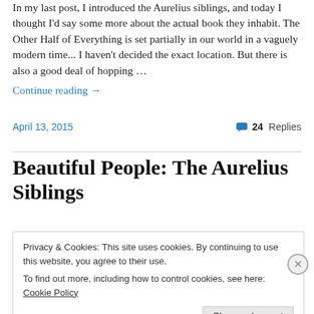In my last post, I introduced the Aurelius siblings, and today I thought I'd say some more about the actual book they inhabit. The Other Half of Everything is set partially in our world in a vaguely modern time... I haven't decided the exact location. But there is also a good deal of hopping …
Continue reading →
April 13, 2015    24 Replies
Beautiful People: The Aurelius Siblings
Privacy & Cookies: This site uses cookies. By continuing to use this website, you agree to their use.
To find out more, including how to control cookies, see here: Cookie Policy
Close and accept